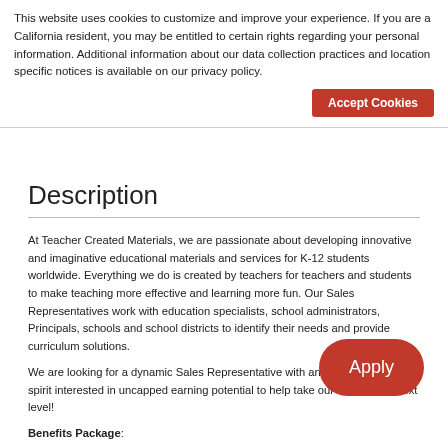This website uses cookies to customize and improve your experience. If you are a California resident, you may be entitled to certain rights regarding your personal information. Additional information about our data collection practices and location specific notices is available on our privacy policy.
Accept Cookies
Description
At Teacher Created Materials, we are passionate about developing innovative and imaginative educational materials and services for K-12 students worldwide. Everything we do is created by teachers for teachers and students to make teaching more effective and learning more fun. Our Sales Representatives work with education specialists, school administrators, Principals, schools and school districts to identify their needs and provide curriculum solutions.
We are looking for a dynamic Sales Representative with an entrepreneurial spirit interested in uncapped earning potential to help take our team to the next level!
Benefits Package:
Competitive Salary plus Monthly Uncapped Co...
Performance Bonuses
Health Insurance
Apply